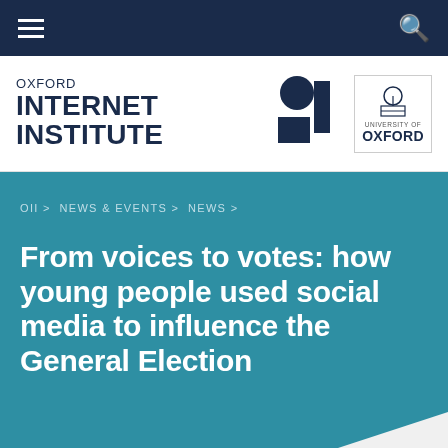Navigation bar with hamburger menu and search icon
[Figure (logo): Oxford Internet Institute logo with OII brand mark and University of Oxford crest]
OII > NEWS & EVENTS > NEWS >
From voices to votes: how young people used social media to influence the General Election